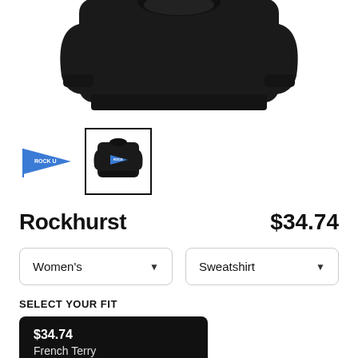[Figure (photo): Black crewneck sweatshirt shown from front/top, partially cropped at top of page]
[Figure (photo): Small thumbnail of blue pennant flag with ROCK U text]
[Figure (photo): Selected thumbnail of black sweatshirt with blue pennant design, shown in black border box]
Rockhurst
$34.74
Women's
Sweatshirt
SELECT YOUR FIT
$34.74
French Terry